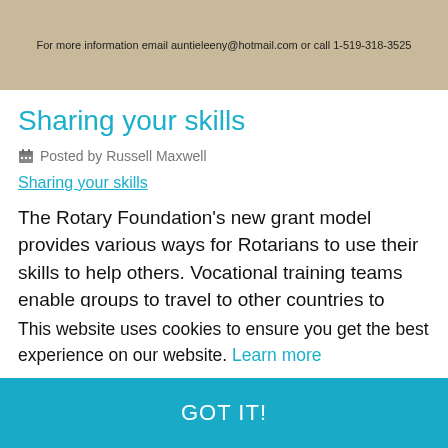[Figure (photo): Scanned image banner with text: For more information email auntieleeny@hotmail.com or call 1-519-318-3525]
Sharing your skills
Posted by Russell Maxwell
Sharing your skills
The Rotary Foundation’s new grant model provides various ways for Rotarians to use their skills to help others. Vocational training teams enable groups to travel to other countries to learn more about their profession or to teach local professionals, while the Project
This website uses cookies to ensure you get the best experience on our website. Learn more
GOT IT!